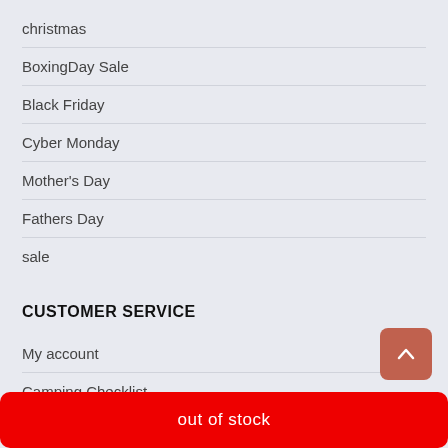christmas
BoxingDay Sale
Black Friday
Cyber Monday
Mother's Day
Fathers Day
sale
CUSTOMER SERVICE
My account
Camping Checklist
out of stock